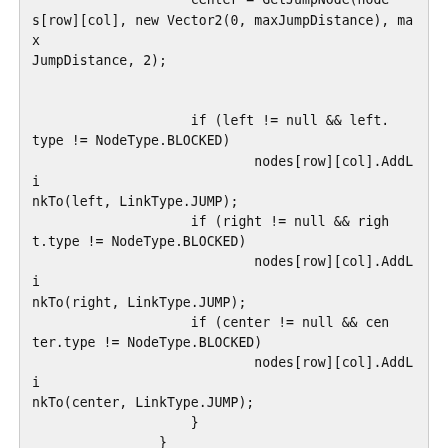[row][col], new Vector2(maxHorizontalSpeed, maxJumpDistance), maxJumpDistance, 2);
                    center = GetJumpNode(nodes[row][col], new Vector2(0, maxJumpDistance), maxJumpDistance, 2);


                    if (left != null && left.type != NodeType.BLOCKED)
                            nodes[row][col].AddLinkTo(left, LinkType.JUMP);
                    if (right != null && right.type != NodeType.BLOCKED)
                            nodes[row][col].AddLinkTo(right, LinkType.JUMP);
                    if (center != null && center.type != NodeType.BLOCKED)
                            nodes[row][col].AddLinkTo(center, LinkType.JUMP);
                    }
                }
            }
        }
    }